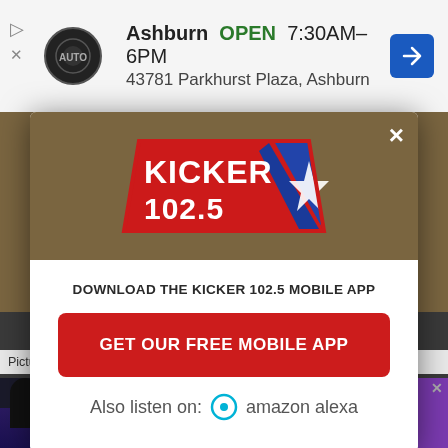[Figure (screenshot): Top advertisement banner showing a business named with location Ashburn, OPEN 7:30AM-6PM, address 43781 Parkhurst Plaza, Ashburn, with navigation arrow icon]
[Figure (screenshot): Modal popup dialog with Kicker 102.5 radio station logo at top on tan/brown background, with download prompt and red button below]
DOWNLOAD THE KICKER 102.5 MOBILE APP
GET OUR FREE MOBILE APP
Also listen on: amazon alexa
[Figure (screenshot): Bottom advertisement for Church on the Rock (COTR) - A Place For You]
Pictured: Men stand beside the first Fridaire, made by